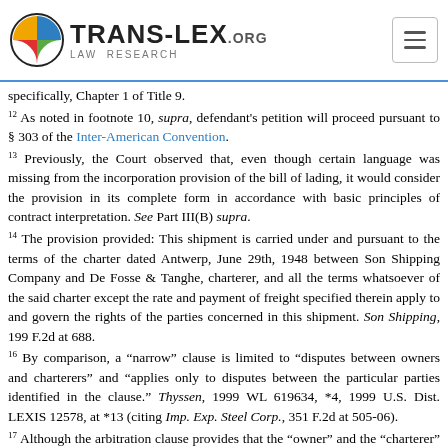TRANS-LEX.ORG LAW RESEARCH
specifically, Chapter 1 of Title 9.
12 As noted in footnote 10, supra, defendant's petition will proceed pursuant to § 303 of the Inter-American Convention.
13 Previously, the Court observed that, even though certain language was missing from the incorporation provision of the bill of lading, it would consider the provision in its complete form in accordance with basic principles of contract interpretation. See Part III(B) supra.
14 The provision provided: This shipment is carried under and pursuant to the terms of the charter dated Antwerp, June 29th, 1948 between Son Shipping Company and De Fosse & Tanghe, charterer, and all the terms whatsoever of the said charter except the rate and payment of freight specified therein apply to and govern the rights of the parties concerned in this shipment. Son Shipping, 199 F.2d at 688.
16 By comparison, a “narrow” clause is limited to “disputes between owners and charterers” and “applies only to disputes between the particular parties identified in the clause.” Thyssen, 1999 WL 619634, *4, 1999 U.S. Dist. LEXIS 12578, at *13 (citing Imp. Exp. Steel Corp., 351 F.2d at 505-06).
17 Although the arbitration clause provides that the “owner” and the “charterer” should each appoint an arbitrator, courts have found that the